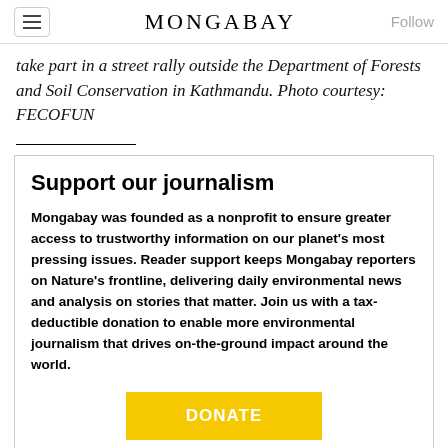MONGABAY
take part in a street rally outside the Department of Forests and Soil Conservation in Kathmandu. Photo courtesy: FECOFUN
Support our journalism
Mongabay was founded as a nonprofit to ensure greater access to trustworthy information on our planet's most pressing issues. Reader support keeps Mongabay reporters on Nature's frontline, delivering daily environmental news and analysis on stories that matter. Join us with a tax-deductible donation to enable more environmental journalism that drives on-the-ground impact around the world.
DONATE